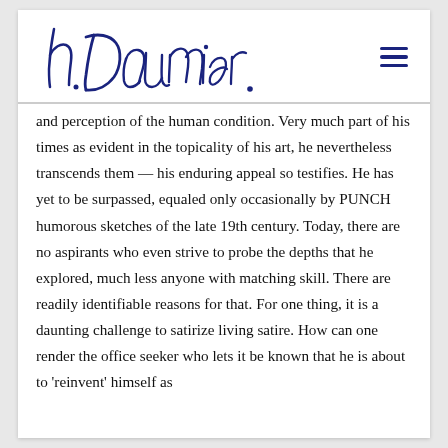[Figure (logo): Handwritten cursive signature reading 'h. Daumier.' in dark navy blue ink]
and perception of the human condition. Very much part of his times as evident in the topicality of his art, he nevertheless transcends them — his enduring appeal so testifies. He has yet to be surpassed, equaled only occasionally by PUNCH humorous sketches of the late 19th century. Today, there are no aspirants who even strive to probe the depths that he explored, much less anyone with matching skill. There are readily identifiable reasons for that. For one thing, it is a daunting challenge to satirize living satire. How can one render the office seeker who lets it be known that he is about to 'reinvent' himself as